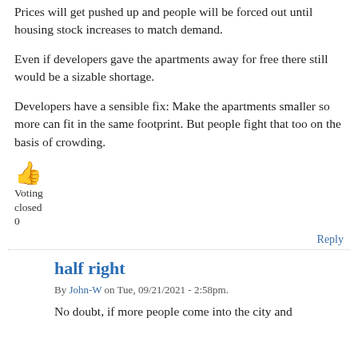Prices will get pushed up and people will be forced out until housing stock increases to match demand.
Even if developers gave the apartments away for free there still would be a sizable shortage.
Developers have a sensible fix: Make the apartments smaller so more can fit in the same footprint. But people fight that too on the basis of crowding.
[Figure (illustration): Thumbs up emoji icon in orange/yellow color]
Voting
closed
0
Reply
half right
By John-W on Tue, 09/21/2021 - 2:58pm.
No doubt, if more people come into the city and